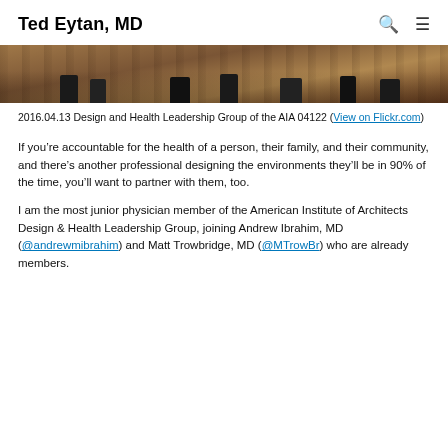Ted Eytan, MD
[Figure (photo): Cropped photo showing the lower half of a group of people standing on a brick floor, only their feet and legs visible.]
2016.04.13 Design and Health Leadership Group of the AIA 04122 (View on Flickr.com)
If you’re accountable for the health of a person, their family, and their community, and there’s another professional designing the environments they’ll be in 90% of the time, you’ll want to partner with them, too.
I am the most junior physician member of the American Institute of Architects Design & Health Leadership Group, joining Andrew Ibrahim, MD (@andrewmibrahim) and Matt Trowbridge, MD (@MTrowBr) who are already members.